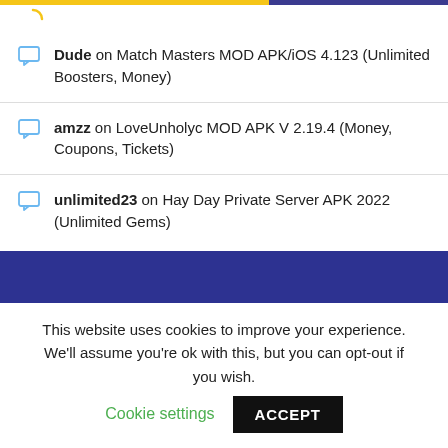Dude on Match Masters MOD APK/iOS 4.123 (Unlimited Boosters, Money)
amzz on LoveUnholyc MOD APK V 2.19.4 (Money, Coupons, Tickets)
unlimited23 on Hay Day Private Server APK 2022 (Unlimited Gems)
This website uses cookies to improve your experience. We'll assume you're ok with this, but you can opt-out if you wish.
Cookie settings   ACCEPT